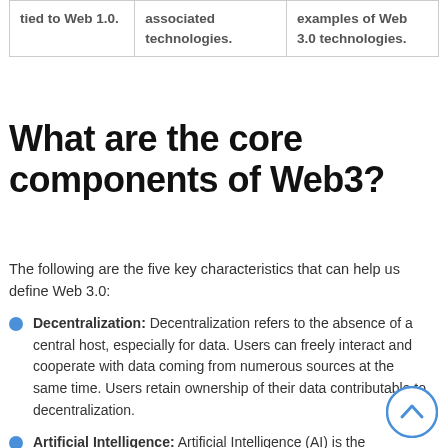| tied to Web 1.0. | associated technologies. | examples of Web 3.0 technologies. |
What are the core components of Web3?
The following are the five key characteristics that can help us define Web 3.0:
Decentralization:  Decentralization refers to the absence of a central host, especially for data. Users can freely interact and cooperate with data coming from numerous sources at the same time. Users retain ownership of their data contributable to decentralization.
Artificial Intelligence: Artificial Intelligence (AI) is the